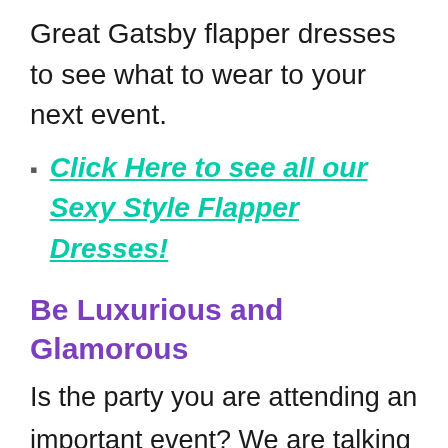Great Gatsby flapper dresses to see what to wear to your next event.
Click Here to see all our Sexy Style Flapper Dresses!
Be Luxurious and Glamorous
Is the party you are attending an important event? We are talking about whether it matters to you. For example, there might be a special someone you want to impress at the gathering. Perhaps you always consider it a prestige to attract the attention